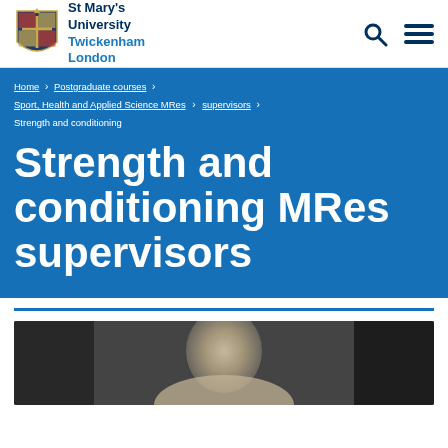St Mary's University Twickenham London
Home > Postgraduate courses > Sport, Health and Applied Science MRes > supervisors > Strength and conditioning
Strength and conditioning MRes supervisors
[Figure (photo): Blurred close-up photograph of a person's face, partially visible, in a room with dark background elements.]